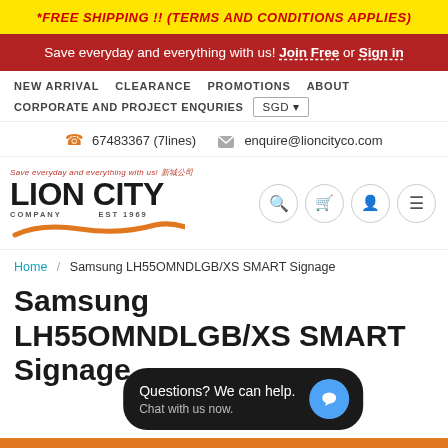*FREE SHIPPING !! (TERMS AND CONDITIONS APPLIES)
Save everyday and everything with us! Join Free or Sign in
NEW ARRIVAL   CLEARANCE   PROMOTIONS   ABOUT   CORPORATE AND PROJECT ENQURIES   SGD
67483367 (7lines)   enquire@lioncityco.com
[Figure (logo): Lion City Company logo with orange wave design, EST 1969]
Home / Samsung LH55OMNDLGB/XS SMART Signage
Samsung LH55OMNDLGB/XS SMART Signage
Questions? We can help. Chat with us now.